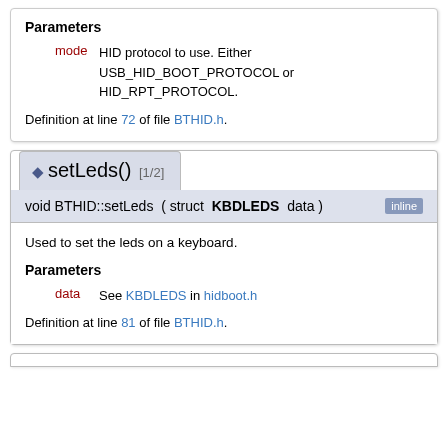Parameters
mode HID protocol to use. Either USB_HID_BOOT_PROTOCOL or HID_RPT_PROTOCOL.
Definition at line 72 of file BTHID.h.
◆ setLeds() [1/2]
void BTHID::setLeds ( struct KBDLEDS data ) inline
Used to set the leds on a keyboard.
Parameters
data See KBDLEDS in hidboot.h
Definition at line 81 of file BTHID.h.